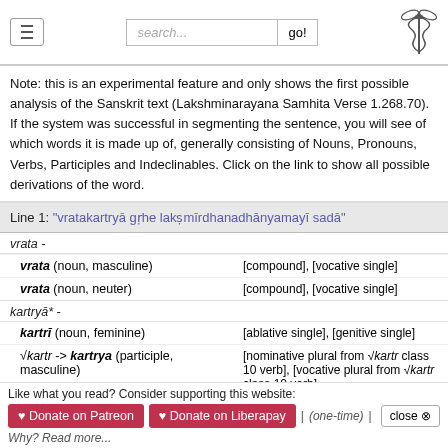search... go!
Note: this is an experimental feature and only shows the first possible analysis of the Sanskrit text (Lakshminarayana Samhita Verse 1.268.70). If the system was successful in segmenting the sentence, you will see of which words it is made up of, generally consisting of Nouns, Pronouns, Verbs, Participles and Indeclinables. Click on the link to show all possible derivations of the word.
Line 1: “vratakartryā gṛhe lakṣmīrdhanādhānyamayī sadā”
| Word/Form | Analysis |
| --- | --- |
| vrata - |  |
| vrata (noun, masculine) | [compound], [vocative single] |
| vrata (noun, neuter) | [compound], [vocative single] |
| kartryā* - |  |
| kartrī (noun, feminine) | [ablative single], [genitive single] |
| √kartr -> kartrya (participle, masculine) | [nominative plural from √kartr class 10 verb], [vocative plural from √kartr class 10 verb] |
| √kartr -> kartryā (participle, | [nominative plural from √kartr class 10 verb], |
Like what you read? Consider supporting this website:
Donate on Patreon  Donate on Liberapay  | (one-time) |  close
Why? Read more...